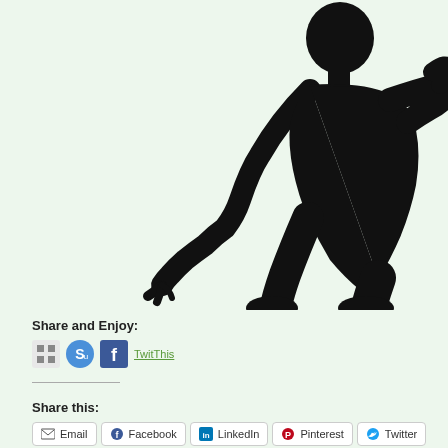[Figure (illustration): Black silhouette of a zombie figure leaning forward with arms outstretched, on a light mint/green background. The zombie is positioned in the upper-right portion of the page.]
Share and Enjoy:
[Figure (infographic): Row of social sharing icons: a grid/apps icon, StumbleUpon icon, Facebook icon, and TwitThis text link]
Share this:
[Figure (infographic): Row of share buttons: Email, Facebook, LinkedIn, Pinterest, Twitter]